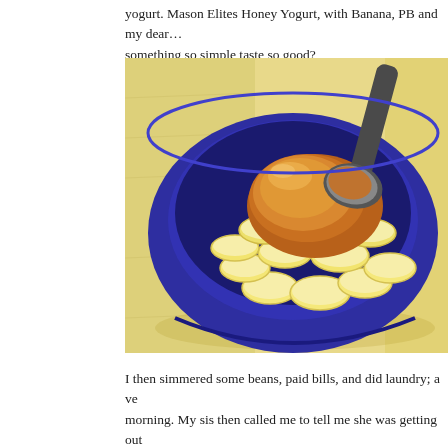yogurt. Mason Elites Honey Yogurt, with Banana, PB and my dear… something so simple taste so good?
[Figure (photo): A blue ceramic bowl filled with sliced banana pieces and a large spoonful of peanut butter being added, sitting on a light wooden surface.]
I then simmered some beans, paid bills, and did laundry; a ve morning. My sis then called me to tell me she was getting out which meant an early gym session! WOOHOO but then…